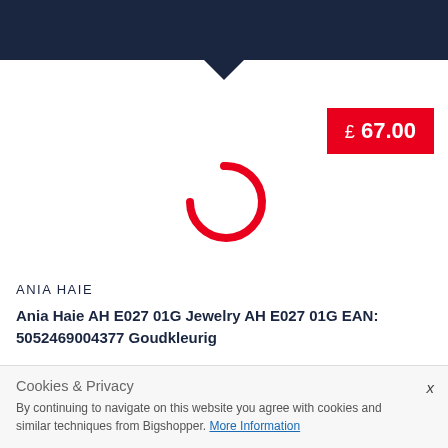[Figure (other): Loading spinner - red circular arc indicating content is loading]
£ 67.00
ANIA HAIE
Ania Haie AH E027 01G Jewelry AH E027 01G EAN: 5052469004377 Goudkleurig
Ania Haie Earrings and more accessories. Enia de 50%...
Cookies & Privacy
By continuing to navigate on this website you agree with cookies and similar techniques from Bigshopper. More Information